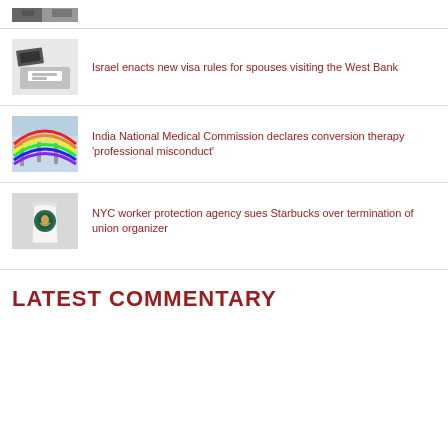[Figure (photo): Partial view of a building/industrial photo, cropped at top]
[Figure (photo): Stamp/visa stamp on paper]
Israel enacts new visa rules for spouses visiting the West Bank
[Figure (photo): Rainbow flags on poles]
India National Medical Commission declares conversion therapy ‘professional misconduct’
[Figure (photo): Starbucks coffee cup]
NYC worker protection agency sues Starbucks over termination of union organizer
LATEST COMMENTARY